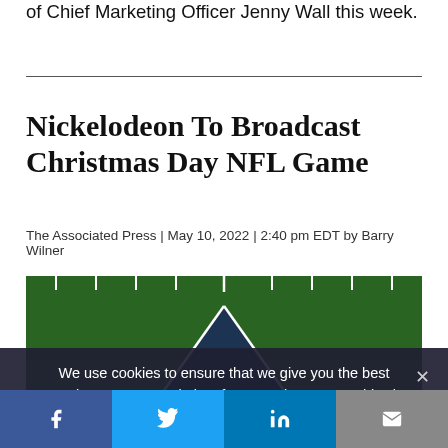of Chief Marketing Officer Jenny Wall this week.
Nickelodeon To Broadcast Christmas Day NFL Game
The Associated Press | May 10, 2022 | 2:40 pm EDT by Barry Wilner
[Figure (photo): Aerial view of a football field showing the end zone with white yard markers on green turf]
We use cookies to ensure that we give you the best experience on our website. If you continue to use this site we will assume that you are happy with it.
Facebook | Twitter | LinkedIn | Email